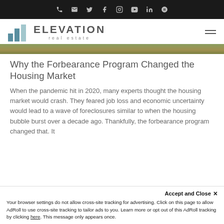Social media icon bar (phone, email, twitter, facebook, instagram, youtube, linkedin, yelp)
[Figure (logo): Elevation Real Estate logo with bar chart icon and text]
[Figure (photo): Green and brown landscape hero image strip]
Why the Forbearance Program Changed the Housing Market
When the pandemic hit in 2020, many experts thought the housing market would crash. They feared job loss and economic uncertainty would lead to a wave of foreclosures similar to when the housing bubble burst over a decade ago. Thankfully, the forbearance program changed that. It
Accept and Close ×
Your browser settings do not allow cross-site tracking for advertising. Click on this page to allow AdRoll to use cross-site tracking to tailor ads to you. Learn more or opt out of this AdRoll tracking by clicking here. This message only appears once.